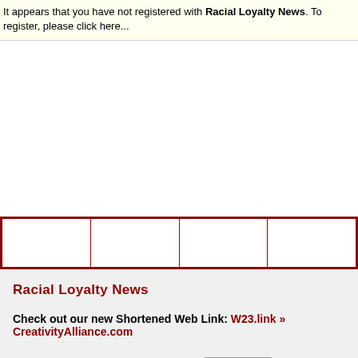It appears that you have not registered with Racial Loyalty News. To register, please click here...
|  |  |  |  |
| --- | --- | --- | --- |
|  |  |  |  |
Racial Loyalty News
Check out our new Shortened Web Link: W23.link » CreativityAlliance.com
Next Rand